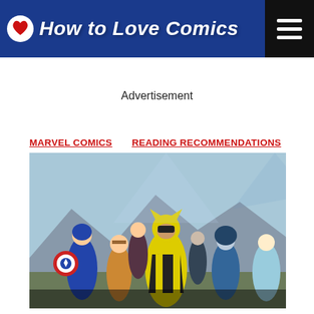How To Love Comics
Advertisement
MARVEL COMICS    READING RECOMMENDATIONS
[Figure (illustration): Comic book illustration showing Wolverine in his classic yellow and black costume standing prominently in center, surrounded by other Marvel superhero characters including Captain America with his shield on the left, and several other heroes in the background with dramatic lighting and a painted art style.]